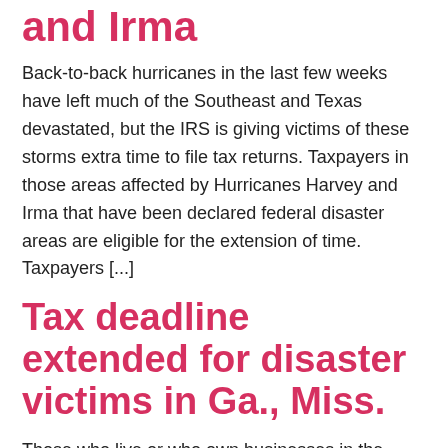and Irma
Back-to-back hurricanes in the last few weeks have left much of the Southeast and Texas devastated, but the IRS is giving victims of these storms extra time to file tax returns. Taxpayers in those areas affected by Hurricanes Harvey and Irma that have been declared federal disaster areas are eligible for the extension of time. Taxpayers [...]
Tax deadline extended for disaster victims in Ga., Miss.
Those who live or who own businesses in the federally declared disaster areas across the Southeast following severe storms and tornadoes in January will have additional time to file and pay taxes. The IRS has announced that certain counties in Georgia and Mississippi will now have until May 31, 2017, to file their income tax returns [...]